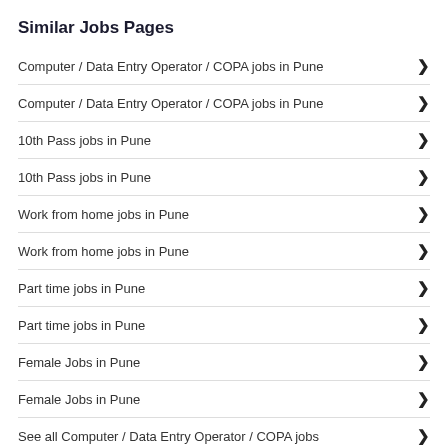Similar Jobs Pages
Computer / Data Entry Operator / COPA jobs in Pune
Computer / Data Entry Operator / COPA jobs in Pune
10th Pass jobs in Pune
10th Pass jobs in Pune
Work from home jobs in Pune
Work from home jobs in Pune
Part time jobs in Pune
Part time jobs in Pune
Female Jobs in Pune
Female Jobs in Pune
See all Computer / Data Entry Operator / COPA jobs
All Jobs in Pune